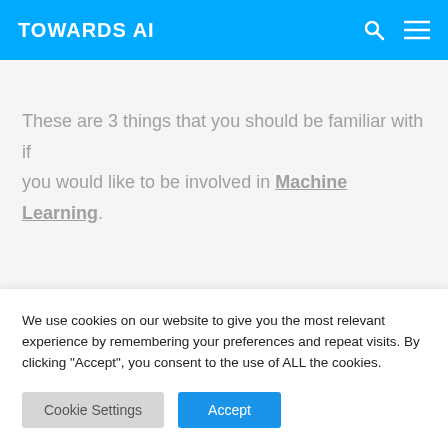TOWARDS AI
These are 3 things that you should be familiar with if you would like to be involved in Machine Learning.
Image By Author
We use cookies on our website to give you the most relevant experience by remembering your preferences and repeat visits. By clicking “Accept”, you consent to the use of ALL the cookies.